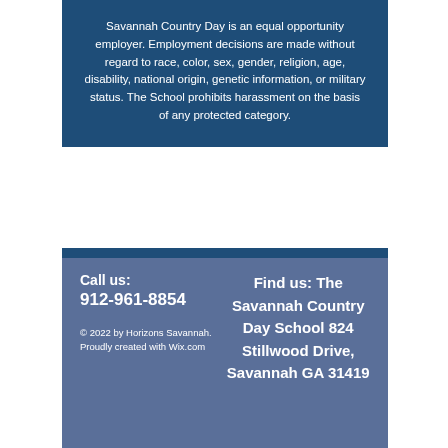Savannah Country Day is an equal opportunity employer. Employment decisions are made without regard to race, color, sex, gender, religion, age, disability, national origin, genetic information, or military status. The School prohibits harassment on the basis of any protected category.
Call us: 912-961-8854
Find us: The Savannah Country Day School 824 Stillwood Drive, Savannah GA 31419
© 2022 by Horizons Savannah. Proudly created with Wix.com